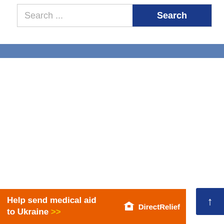Search ...
Search
Help send medical aid to Ukraine >>